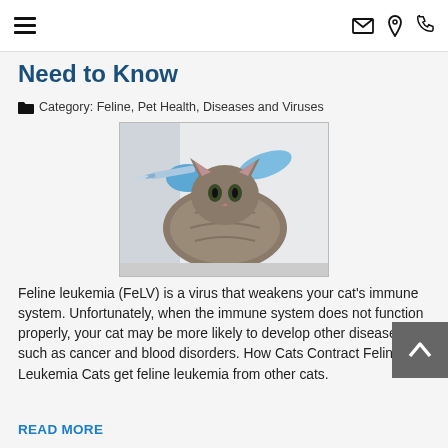≡  ✉ ⚲ ✆
Need to Know
Category: Feline, Pet Health, Diseases and Viruses
[Figure (photo): A veterinarian wearing blue gloves giving an injection to a fluffy tabby cat on an examination table]
Feline leukemia (FeLV) is a virus that weakens your cat's immune system. Unfortunately, when the immune system does not function properly, your cat may be more likely to develop other diseases, such as cancer and blood disorders. How Cats Contract Feline Leukemia Cats get feline leukemia from other cats.
READ MORE